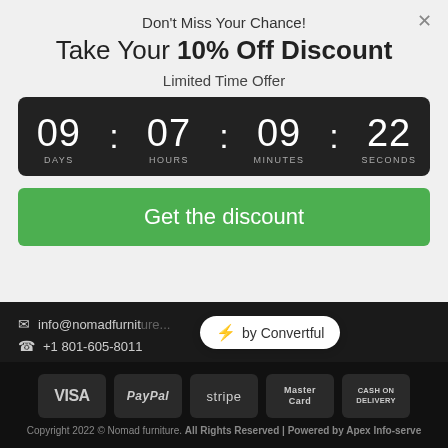Don't Miss Your Chance!
Take Your 10% Off Discount
Limited Time Offer
[Figure (other): Countdown timer showing 09 DAYS : 07 HOURS : 09 MINUTES : 22 SECONDS on dark background]
Get the discount
info@nomadfurniture...
+1 801-605-8011
[Figure (other): by Convertful badge with lightning bolt icon]
[Figure (other): Payment method badges: VISA, PayPal, stripe, MasterCard, CASH ON DELIVERY]
Copyright 2022 © Nomad furniture. All Rights Reserved | Powered by Apex Info-serve